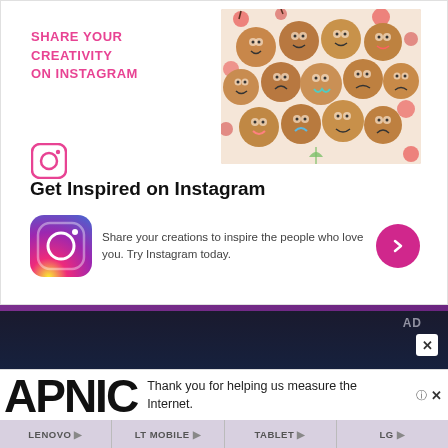[Figure (infographic): Instagram promotional banner with text SHARE YOUR CREATIVITY ON INSTAGRAM, Instagram icon, and photo of decorated muffins with faces on a red cherry pattern plate]
Get Inspired on Instagram
[Figure (infographic): Instagram logo (gradient square with camera icon), text 'Share your creations to inspire the people who love you. Try Instagram today.', and pink circular arrow button]
[Figure (screenshot): Dark advertisement section with AD label, close button, APNIC logo partially visible, and text 'Thank you for helping us measure the Internet.']
Thank you for helping us measure the Internet.
LENOVO  LT MOBILE  TABLET  LG